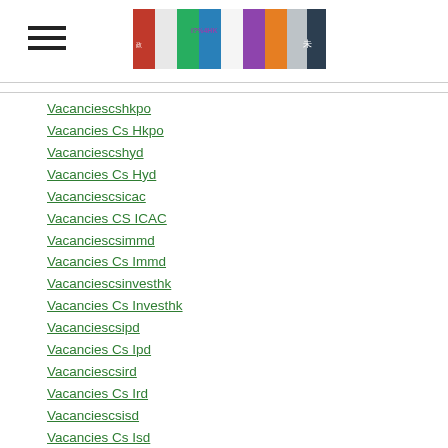[Figure (illustration): Hamburger menu icon (three horizontal bars)]
[Figure (photo): Banner image with colorful collage of Hong Kong government-related photos and Chinese text]
Vacanciescshkpo
Vacancies Cs Hkpo
Vacanciescshyd
Vacancies Cs Hyd
Vacanciescsicac
Vacancies CS ICAC
Vacanciescsimmd
Vacancies Cs Immd
Vacanciescsinvesthk
Vacancies Cs Investhk
Vacanciescsipd
Vacancies Cs Ipd
Vacanciescsird
Vacancies Cs Ird
Vacanciescsisd
Vacancies Cs Isd
Vacancies Cs Itb
Vacanciescsitc